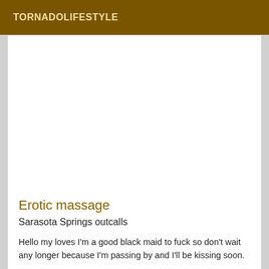TORNADOLIFESTYLE
Erotic massage
Sarasota Springs outcalls
Hello my loves I'm a good black maid to fuck so don't wait any longer because I'm passing by and I'll be kissing soon.
Verified